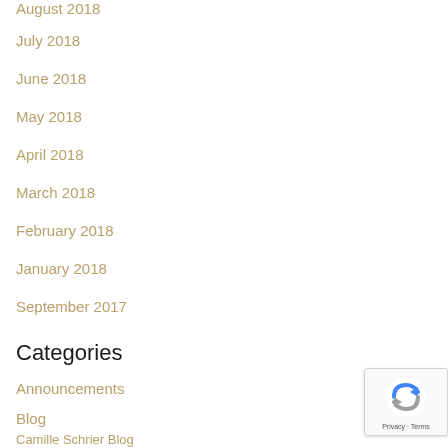August 2018
July 2018
June 2018
May 2018
April 2018
March 2018
February 2018
January 2018
September 2017
Categories
Announcements
Blog
Camille Schrier Blog
History